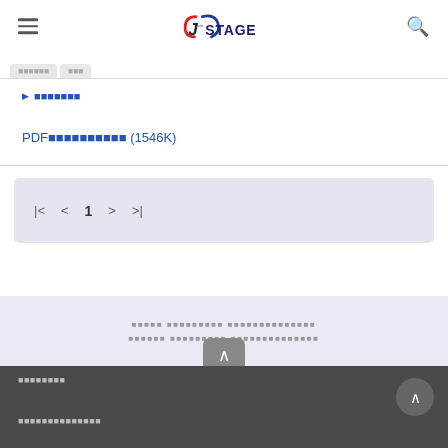J-STAGE
引用文献 (Citation list)
PDFをダウンロード (1546K)
|< < 1 > >|
footer banner text (Japanese)
サイトについて
プライバシーポリシー